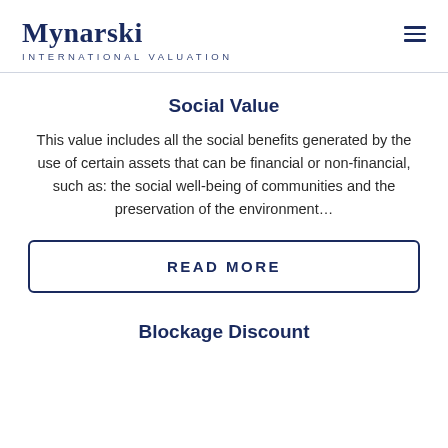Mynarski International Valuation
Social Value
This value includes all the social benefits generated by the use of certain assets that can be financial or non-financial, such as: the social well-being of communities and the preservation of the environment…
READ MORE
Blockage Discount